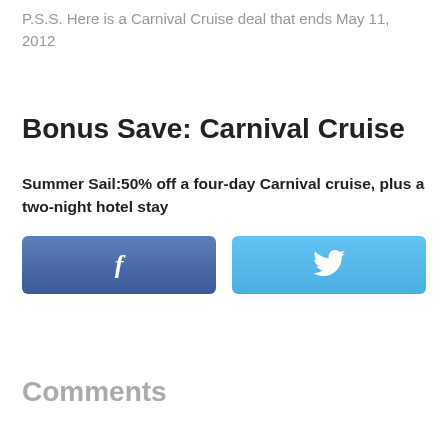P.S.S. Here is a Carnival Cruise deal that ends May 11, 2012
Bonus Save: Carnival Cruise
Summer Sail:50% off a four-day Carnival cruise, plus a two-night hotel stay
[Figure (other): Facebook and Twitter social share buttons]
Comments